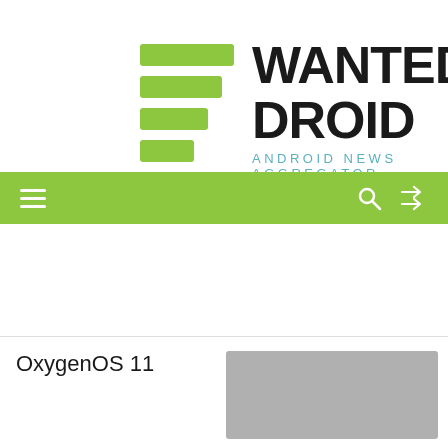[Figure (logo): Wanted Droid logo with green horizontal bars icon and bold 'WANTED DROID' text, tagline 'ANDROID NEWS AGGREGATOR' in teal]
[Figure (screenshot): Green navigation bar with hamburger menu icon on left, search and shuffle icons on right; back-to-top button; article card showing 'OxygenOS 11' title]
OxygenOS 11